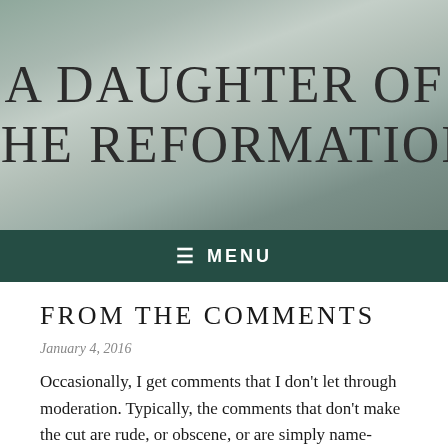[Figure (illustration): Blog header image with a textured stone/painted background in muted grey-green tones. Large serif text reads 'A DAUGHTER OF THE REFORMATION' centered on the image.]
≡ MENU
FROM THE COMMENTS
January 4, 2016
Occasionally, I get comments that I don't let through moderation. Typically, the comments that don't make the cut are rude, or obscene, or are simply name-calling screeds. Sometimes, I do let them through, like today.